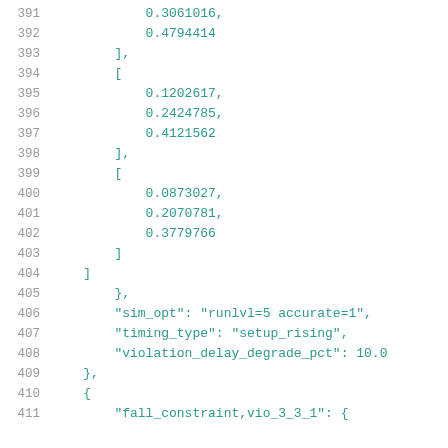391        0.3061016,
392        0.4794414
393    ],
394    [
395        0.1202617,
396        0.2424785,
397        0.4121562
398    ],
399    [
400        0.0873027,
401        0.2070781,
402        0.3779766
403    ]
404        ]
405            },
406            "sim_opt": "runlvl=5 accurate=1",
407            "timing_type": "setup_rising",
408            "violation_delay_degrade_pct": 10.0
409        },
410        {
411            "fall_constraint,vio_3_3_1": {